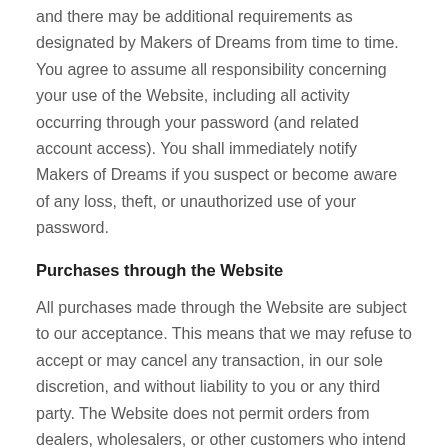and there may be additional requirements as designated by Makers of Dreams from time to time. You agree to assume all responsibility concerning your use of the Website, including all activity occurring through your password (and related account access). You shall immediately notify Makers of Dreams if you suspect or become aware of any loss, theft, or unauthorized use of your password.
Purchases through the Website
All purchases made through the Website are subject to our acceptance. This means that we may refuse to accept or may cancel any transaction, in our sole discretion, and without liability to you or any third party. The Website does not permit orders from dealers, wholesalers, or other customers who intend to resell items offered on the Website. Makers of Dreams expressly conditions its acceptance of your order on your agreement to these Terms, and to all additional terms